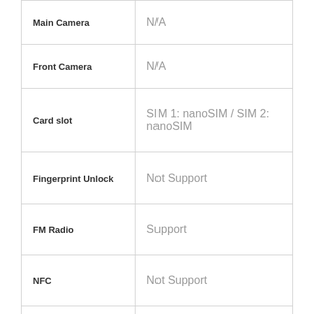| Feature | Value |
| --- | --- |
| Main Camera | N/A |
| Front Camera | N/A |
| Card slot | SIM 1: nanoSIM / SIM 2: nanoSIM |
| Fingerprint Unlock | Not Support |
| FM Radio | Support |
| NFC | Not Support |
| USB Type-C | Not Support |